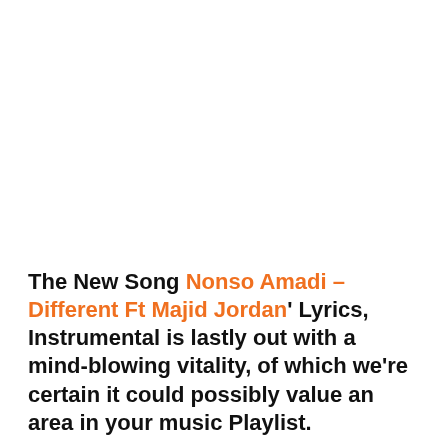The New Song Nonso Amadi – Different Ft Majid Jordan' Lyrics, Instrumental is lastly out with a mind-blowing vitality, of which we're certain it could possibly value an area in your music Playlist.
Don't neglect to bookmark our Music Category, for